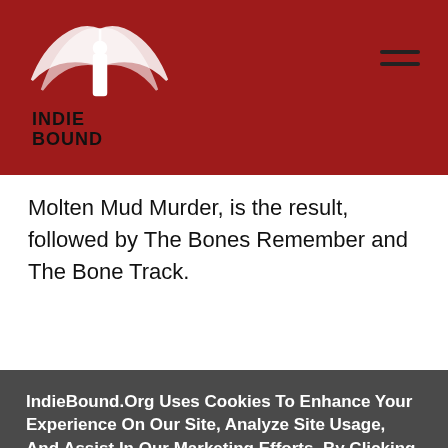IndieBound
Molten Mud Murder, is the result, followed by The Bones Remember and The Bone Track.
IndieBound.Org Uses Cookies To Enhance Your Experience On Our Site, Analyze Site Usage, And Assist In Our Marketing Efforts. By Clicking Accept, You Agree To The Storing Of Cookies On Your Device. View Our Cookie Policy.
Give me more info
Accept all Cookies